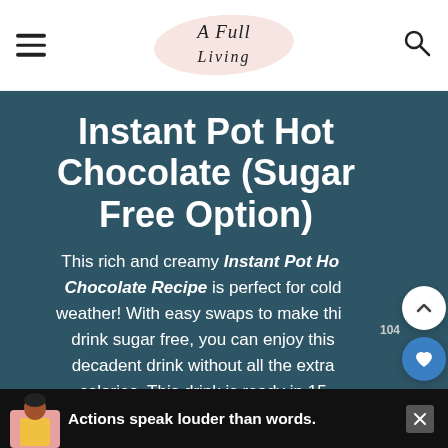A Full Living — navigation header with hamburger menu and search icon
Instant Pot Hot Chocolate (Sugar Free Option)
This rich and creamy Instant Pot Hot Chocolate Recipe is perfect for cold weather! With easy swaps to make this drink sugar free, you can enjoy this decadent drink without all the extra calories. This drink is ready in 15 minutes and does not take much...
[Figure (other): Ad banner at bottom: person figure with text 'Actions speak louder than words.']